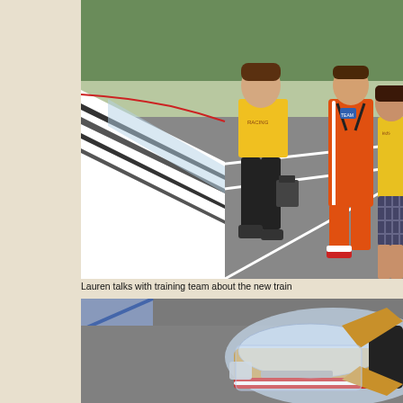[Figure (photo): Outdoor photo showing a person in a yellow t-shirt and black pants walking near a white ramp/track, holding a camera device. Two other people stand in the background: one in an orange/red jumpsuit and one in a yellow shirt with plaid shorts. Green fencing is visible in the background.]
Lauren talks with training team about the new train
[Figure (photo): Close-up photo of what appears to be a small model or toy racing vehicle with a clear plastic canopy/windshield, wooden/tan colored body, and red and white markings, sitting on a dark asphalt surface. A blue line is visible in the upper left.]